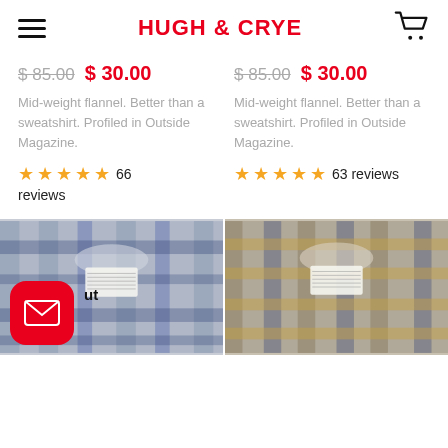HUGH & CRYE
$ 85.00  $ 30.00
Mid-weight flannel. Better than a sweatshirt. Profiled in Outside Magazine.
★★★★★ 66 reviews
$ 85.00  $ 30.00
Mid-weight flannel. Better than a sweatshirt. Profiled in Outside Magazine.
★★★★★ 63 reviews
[Figure (photo): Folded plaid flannel shirt (blue/dark tones) with Hugh & Crye label visible]
[Figure (photo): Folded plaid flannel shirt (tan/navy tones) with Hugh & Crye label visible]